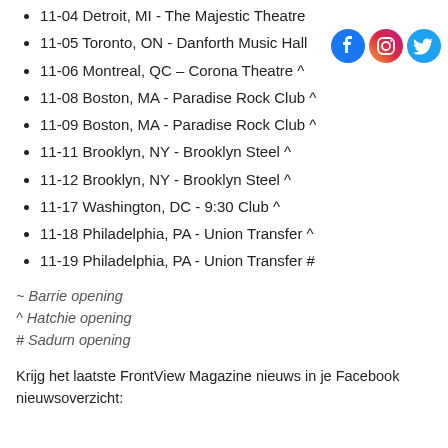11-04 Detroit, MI - The Majestic Theatre
11-05 Toronto, ON - Danforth Music Hall
11-06 Montreal, QC – Corona Theatre ^
11-08 Boston, MA - Paradise Rock Club ^
11-09 Boston, MA - Paradise Rock Club ^
11-11 Brooklyn, NY - Brooklyn Steel ^
11-12 Brooklyn, NY - Brooklyn Steel ^
11-17 Washington, DC - 9:30 Club ^
11-18 Philadelphia, PA - Union Transfer ^
11-19 Philadelphia, PA - Union Transfer #
~ Barrie opening
^ Hatchie opening
# Sadurn opening
Krijg het laatste FrontView Magazine nieuws in je Facebook nieuwsoverzicht: